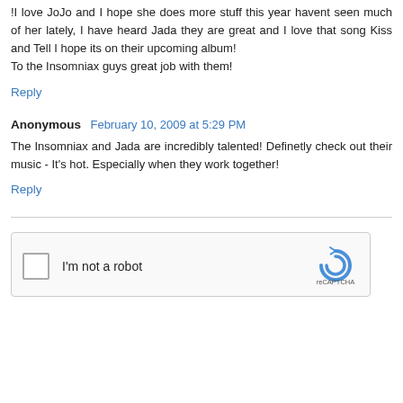!I love JoJo and I hope she does more stuff this year havent seen much of her lately, I have heard Jada they are great and I love that song Kiss and Tell I hope its on their upcoming album!
To the Insomniax guys great job with them!
Reply
Anonymous  February 10, 2009 at 5:29 PM
The Insomniax and Jada are incredibly talented! Definetly check out their music - It's hot. Especially when they work together!
Reply
[Figure (other): reCAPTCHA widget with checkbox labeled 'I'm not a robot' and reCAPTCHA logo]